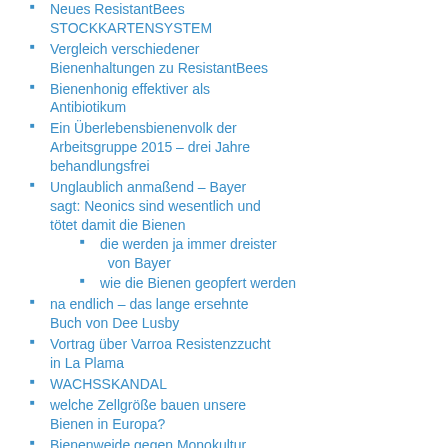Neues ResistantBees STOCKKARTENSYSTEM
Vergleich verschiedener Bienenhaltungen zu ResistantBees
Bienenhonig effektiver als Antibiotikum
Ein Überlebensbienenvolk der Arbeitsgruppe 2015 – drei Jahre behandlungsfrei
Unglaublich anmaßend – Bayer sagt: Neonics sind wesentlich und tötet damit die Bienen
die werden ja immer dreister von Bayer
wie die Bienen geopfert werden
na endlich – das lange ersehnte Buch von Dee Lusby
Vortrag über Varroa Resistenzzucht in La Plama
WACHSSKANDAL
welche Zellgröße bauen unsere Bienen in Europa?
Bienenweide gegen Monokultur
Krise und Erneuerung
Varroaabwehr – Varroaresitenzzucht